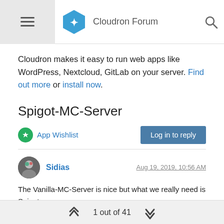Cloudron Forum
Cloudron makes it easy to run web apps like WordPress, Nextcloud, GitLab on your server. Find out more or install now.
Spigot-MC-Server
App Wishlist | Log in to reply
Sidias — Aug 19, 2019, 10:56 AM
The Vanilla-MC-Server is nice but what we really need is Spigot.

lg Sidias
1 out of 41